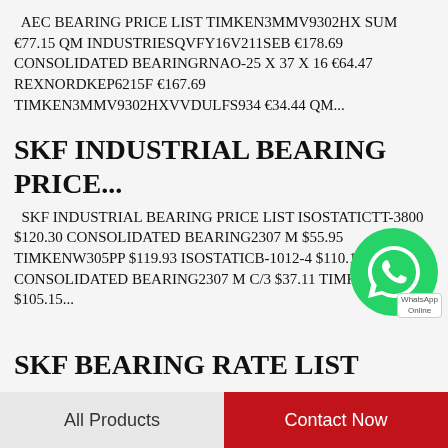AEC BEARING PRICE LIST TIMKEN3MMV9302HX SUM €77.15 QM INDUSTRIESQVFY16V211SEB €178.69 CONSOLIDATED BEARINGRNAO-25 X 37 X 16 €64.47 REXNORDKEP6215F €167.69 TIMKEN3MMV9302HXVVDULFS934 €34.44 QM...
SKF INDUSTRIAL BEARING PRICE...
SKF INDUSTRIAL BEARING PRICE LIST ISOSTATICTT-3800 $120.30 CONSOLIDATED BEARING2307 M $55.95 TIMKENW305PP $119.93 ISOSTATICB-1012-4 $110.10 CONSOLIDATED BEARING2307 M C/3 $37.11 TIMKENW304PP $105.15...
[Figure (other): WhatsApp Online contact badge — green circle with phone icon and 'WhatsApp Online' label]
SKF BEARING RATE LIST 2019...
All Products | Contact Now